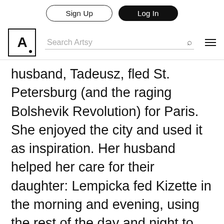Sign Up | Log In
[Figure (logo): Artsy logo with search bar and navigation menu]
husband, Tadeusz, fled St. Petersburg (and the raging Bolshevik Revolution) for Paris. She enjoyed the city and used it as inspiration. Her husband helped her care for their daughter: Lempicka fed Kizette in the morning and evening, using the rest of the day and night to paint and party. She enjoyed the city's cabarets, operas, and nightclubs. “Lempicka preferred pellets of hashish dissolved in sloe-gin fizzes or, her very favorite, hits of cocaine sniffed from a